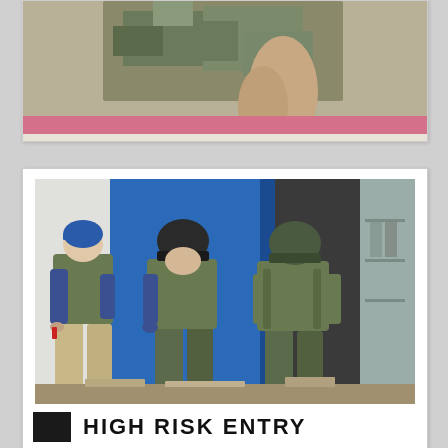[Figure (photo): Partial view of a person in camouflage uniform, cropped photo showing torso/upper body area with a pink stripe visible in the background.]
[Figure (photo): Three law enforcement or military personnel in tactical gear (body armor, helmets) performing a high-risk entry through a blue door/building entrance.]
HIGH RISK ENTRY